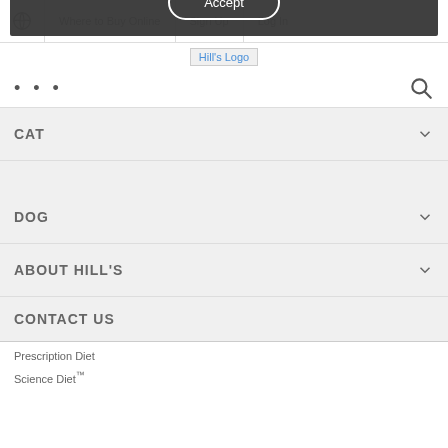Where to Buy Online | Sign Up | Log In
[Figure (logo): Hill's Logo image placeholder]
... (dots menu) and search icon
CAT
DOG
ABOUT HILL'S
CONTACT US
We use cookies and similar technologies to understand how you use our website and to create more valuable experiences for you. These cookies may be used for different purposes, including personalized advertising and measuring site usage. To learn more please see our Cookie Policy. You can change your preferences at any time through our Cookie preferences tool.
Accept
Prescription Diet
Science Diet™